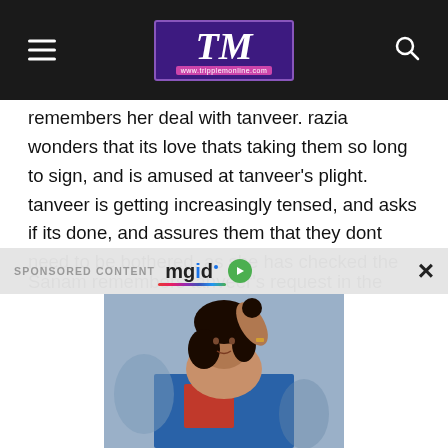TM - www.tripplemonline.com
remembers her deal with tanveer. razia wonders that its love thats taking them so long to sign, and is amused at tanveer's plight. tanveer is getting increasingly tensed, and asks if its done, and assures them that they dont need to be bothered, as she has checked the papers, and that they can go ahead and sign.
Sanam remembers tanveer's request in the hospital, to get married to ahil, to save their family, and takes the papers, and gets ready to sign them. while ahil is tensed and traumat…
[Figure (screenshot): Sponsored content ad bar with 'SPONSORED CONTENT mgid' logo and close button X]
[Figure (photo): Photo of a young woman with dark hair, wearing colorful traditional clothing, posing with hand raised to head]